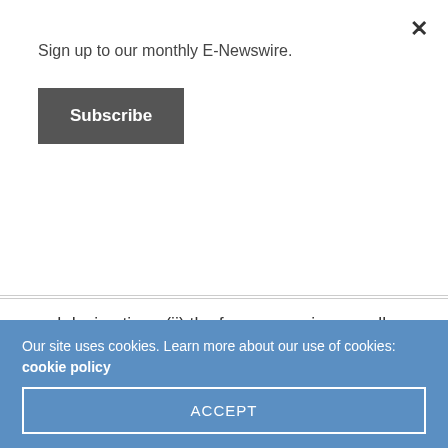Sign up to our monthly E-Newswire.
Subscribe
and design time; (ii) the foam pump is normally restricted to a much tighter operating range, although the proportioner itself can accommodate wide ranges in flows; (iii) the foam pump needs an additional power source, other than water, so is not as reliably secure as a system with a potential single point of failure, such as an entirely water-driven system; (iv) typically, these systems are very complex and cause high efforts at the
Our site uses cookies. Learn more about our use of cookies: cookie policy
ACCEPT